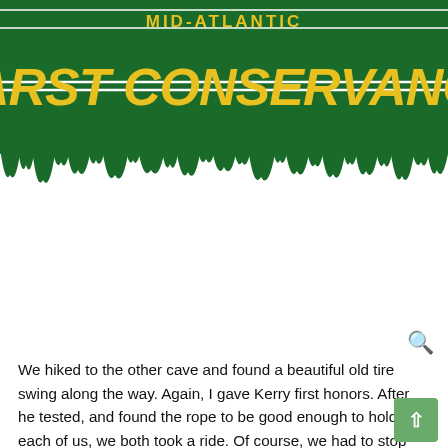[Figure (logo): Mid-Atlantic Karst Conservancy logo: dark green banner with yellow bold text 'MID-ATLANTIC' on top, large dripping green background with yellow stylized text 'KARST CONSERVANCY', with a stalactite drip effect along the bottom edge.]
We hiked to the other cave and found a beautiful old tire swing along the way. Again, I gave Kerry first honors. After he tested, and found the rope to be good enough to hold each of us, we both took a ride. Of course, we had to stop and take pictures of the...